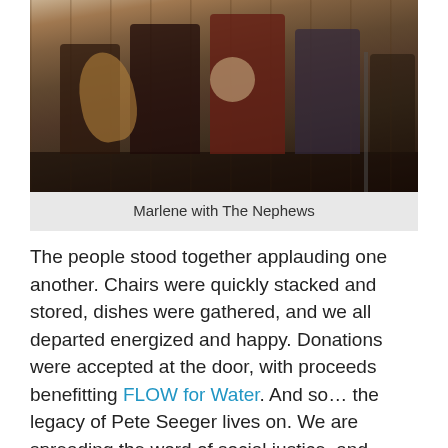[Figure (photo): Photo of Marlene with The Nephews — several people playing musical instruments including guitar and banjo in an indoor wood-paneled setting]
Marlene with The Nephews
The people stood together applauding one another. Chairs were quickly stacked and stored, dishes were gathered, and we all departed energized and happy. Donations were accepted at the door, with proceeds benefitting FLOW for Water. And so… the legacy of Pete Seeger lives on. We are spreading the word of social justice, and speaking and singing out against pollution which is crucifying our noble and beautiful Great Lakes. It